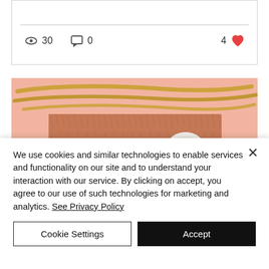[Figure (screenshot): Top portion of a blog post card showing a horizontal divider line with view count (eye icon, 30), comment count (speech bubble icon, 0), and likes (4 with red heart icon)]
[Figure (photo): Blog post featured image showing beauty/fragrance products on a pink furry background with golden brush strokes. Text on product reads 'FRAGRANCE FOR YOUR MOOD BREATH TAKING'. Pink and blue product boxes visible.]
We use cookies and similar technologies to enable services and functionality on our site and to understand your interaction with our service. By clicking on accept, you agree to our use of such technologies for marketing and analytics. See Privacy Policy
Cookie Settings
Accept